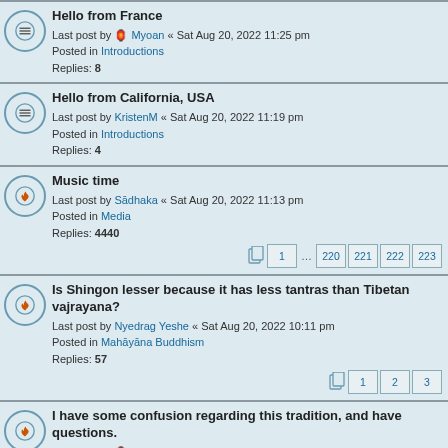Hello from France
Last post by 🏮 Myoan « Sat Aug 20, 2022 11:25 pm
Posted in Introductions
Replies: 8
Hello from California, USA
Last post by KristenM « Sat Aug 20, 2022 11:19 pm
Posted in Introductions
Replies: 4
Music time
Last post by Sādhaka « Sat Aug 20, 2022 11:13 pm
Posted in Media
Replies: 4440
Pages: 1 … 220 221 222 223
Is Shingon lesser because it has less tantras than Tibetan vajrayana?
Last post by Nyedrag Yeshe « Sat Aug 20, 2022 10:11 pm
Posted in Mahāyāna Buddhism
Replies: 57
Pages: 1 2 3
I have some confusion regarding this tradition, and have questions.
Last post by 🏮 Myoan « Sat Aug 20, 2022 9:22 pm
Posted in Pure Land
Replies: 34
Pages: 1 2
Twenty Void Eons
Last post by Sādhaka « Sat Aug 20, 2022 7:58 pm
Posted in Mahāyāna Buddhism
Replies: 4
Join the Seven-Line Prayer global accumulation: a powerful...